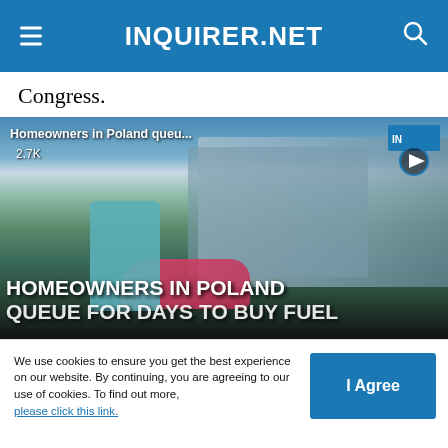INQUIRER.NET
Congress.
[Figure (screenshot): Video thumbnail showing a man standing in front of trucks with text overlay 'HOMEOWNERS IN POLAND QUEUE FOR DAYS TO BUY FUEL'. Title shows 'Homeowners in Poland queu...' with 2.7K views and a play button with Inquirer.net logo.]
We use cookies to ensure you get the best experience on our website. By continuing, you are agreeing to our use of cookies. To find out more, please click this link.